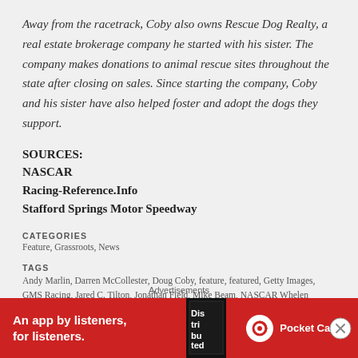Away from the racetrack, Coby also owns Rescue Dog Realty, a real estate brokerage company he started with his sister. The company makes donations to animal rescue sites throughout the state after closing on sales. Since starting the company, Coby and his sister have also helped foster and adopt the dogs they support.
SOURCES:
NASCAR
Racing-Reference.Info
Stafford Springs Motor Speedway
CATEGORIES
Feature, Grassroots, News
TAGS
Andy Marlin, Darren McCollester, Doug Coby, feature, featured, Getty Images, GMS Racing, Jared C. Tilton, Jonathan Field, Mike Beam, NASCAR Whelen Modified Tour, Ray
Advertisements
[Figure (other): Pocket Casts advertisement banner with red background reading 'An app by listeners, for listeners.' with phone graphic and Pocket Casts logo]